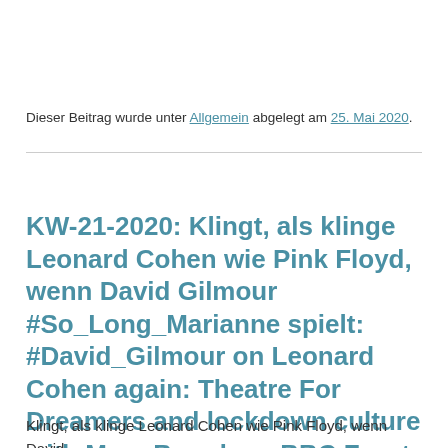Dieser Beitrag wurde unter Allgemein abgelegt am 25. Mai 2020.
KW-21-2020: Klingt, als klinge Leonard Cohen wie Pink Floyd, wenn David Gilmour #So_Long_Marianne spielt: #David_Gilmour on Leonard Cohen again: Theatre For Dreamers and lockdown culture with Mary Beard, on BBC Front Row Late on Thursday 14 May, 2020.
Klingt, als klinge Leonard Cohen wie Pink Floyd, wenn David